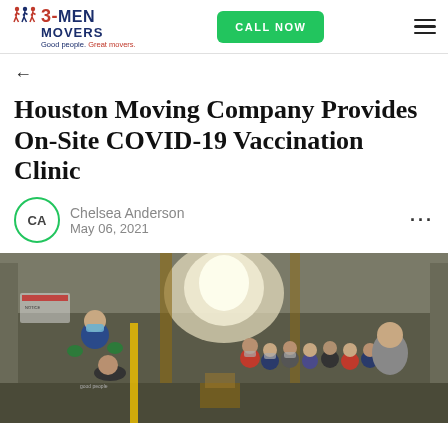3-Men Movers | Good people. Great movers. | CALL NOW
←
Houston Moving Company Provides On-Site COVID-19 Vaccination Clinic
Chelsea Anderson
May 06, 2021
[Figure (photo): People in a warehouse setting receiving COVID-19 vaccinations, with healthcare workers in masks and gloves administering shots.]